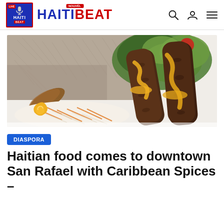HAITIBEAT
[Figure (photo): A plate of Haitian food showing rice, salad with greens, fried food items, shredded carrots and cabbage, and meat/patties with yellow sauce drizzled on top.]
DIASPORA
Haitian food comes to downtown San Rafael with Caribbean Spices –